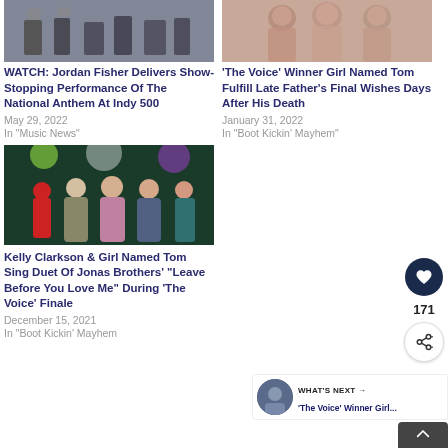[Figure (photo): Marching band performers in gray/dark outfits, top-left thumbnail]
[Figure (photo): Family group smiling, warm tones, top-right thumbnail]
WATCH: Jordan Fisher Delivers Show-Stopping Performance Of The National Anthem At Indy 500
May 29, 2022
In "Music News"
'The Voice' Winner Girl Named Tom Fulfill Late Father's Final Wishes Days After His Death
January 31, 2022
In "Boot Kickin' Mayhem"
[Figure (photo): Kelly Clarkson and Girl Named Tom performing on stage with colorful lights]
Kelly Clarkson & Girl Named Tom Sing Duet Of Jonas Brothers' "Leave Before You Love Me" During 'The Voice' Finale
December 15, 2021
In "Boot Kickin' Mayhem
[Figure (other): Heart/like button icon (dark navy circle with white heart)]
171
[Figure (other): Share button icon (white circle with share symbol)]
[Figure (photo): Circular thumbnail showing person on stage, dark background]
WHAT'S NEXT → 'The Voice' Winner Girl...
[Figure (other): Dark gray scroll-to-top button with upward chevron arrow]